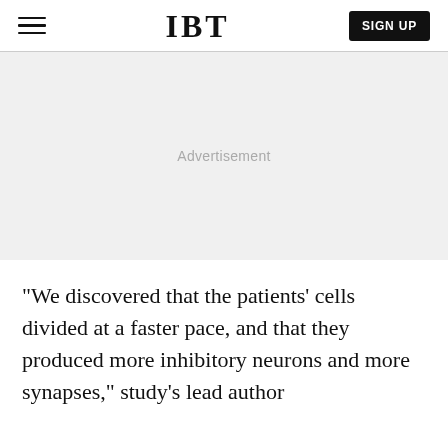IBT
[Figure (other): Advertisement placeholder area with light gray background]
“We discovered that the patients’ cells divided at a faster pace, and that they produced more inhibitory neurons and more synapses,” study’s lead author